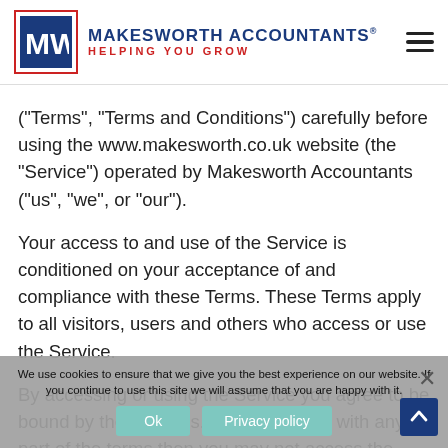[Figure (logo): Makesworth Accountants logo with blue box containing MW letters, company name and tagline 'Helping You Grow']
("Terms", "Terms and Conditions") carefully before using the www.makesworth.co.uk website (the "Service") operated by Makesworth Accountants ("us", "we", or "our").
Your access to and use of the Service is conditioned on your acceptance of and compliance with these Terms. These Terms apply to all visitors, users and others who access or use the Service.
By accessing or using the Service you agree to be bound by these Terms. If you disagree with any part of the terms then you may not access the Service.
We use cookies to ensure that we give you the best experience on our website. If you continue to use this site we will assume that you are happy with it.